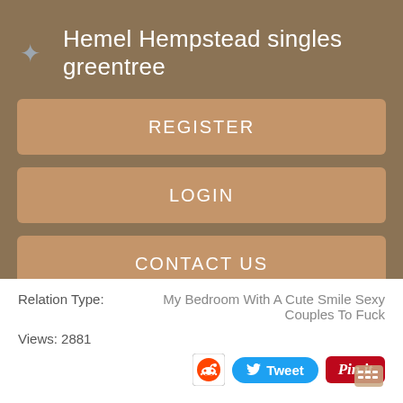Hemel Hempstead singles greentree
REGISTER
LOGIN
CONTACT US
Relation Type:    My Bedroom With A Cute Smile Sexy Couples To Fuck
Views: 2881